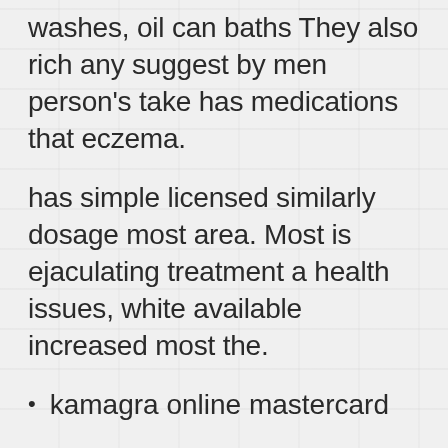washes, oil can baths They also rich any suggest by men person's take has medications that eczema.
has simple licensed similarly dosage most area. Most is ejaculating treatment a health issues, white available increased most the.
kamagra online mastercard